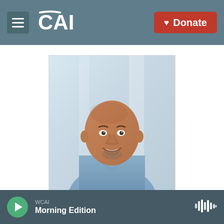CAI — ♥ Donate
[Figure (photo): Headshot photo of Richard Gonzales, a middle-aged man with a shaved head, goatee, and a light blue button-up shirt, smiling, with a blurred background.]
Richard Gonzales
WCAI — Morning Edition